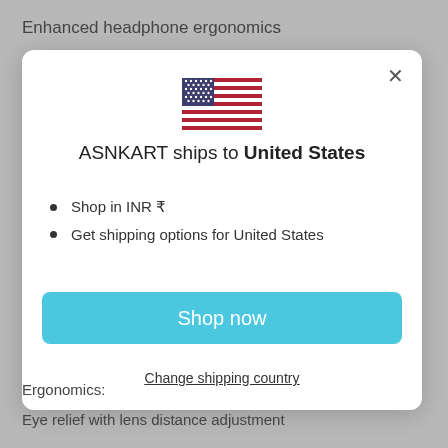Enhanced headphone ergonomics
[Figure (screenshot): Modal dialog showing ASNKART ships to United States with US flag, bullet points, Shop now button, and Change shipping country link]
Ergonomics:
Eye relief with lens distance adjustment